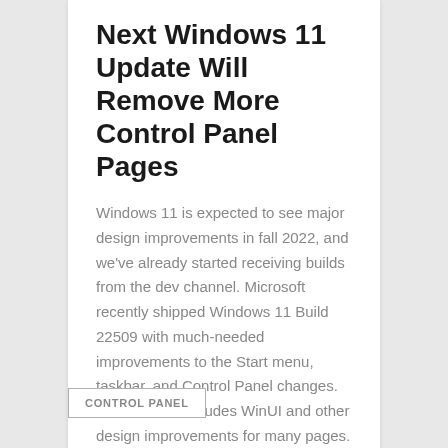Next Windows 11 Update Will Remove More Control Panel Pages
Windows 11 is expected to see major design improvements in fall 2022, and we've already started receiving builds from the dev channel. Microsoft recently shipped Windows 11 Build 22509 with much-needed improvements to the Start menu, taskbar, and Control Panel changes. Windows 11 includes WinUI and other design improvements for many pages. However, the old control panel is still present …
Read More
CONTROL PANEL